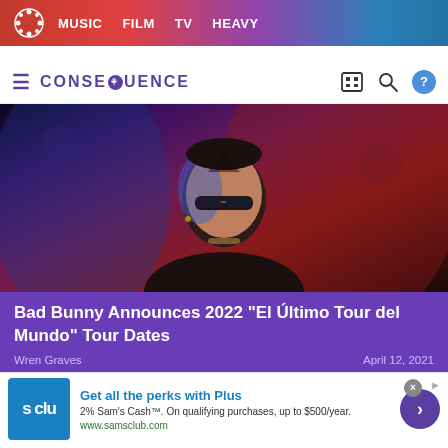MUSIC  FILM  TV  HEAVY
CONSEQUENCE
[Figure (photo): Bad Bunny wearing sunglasses, lit with red and blue lighting against a dark background]
Bad Bunny Announces 2022 "El Último Tour del Mundo" Tour Dates
Wren Graves
April 12, 2021
[Figure (other): Sam's Club advertisement: Get all the perks with Plus. 2% Sam's Cash™. On qualifying purchases, up to $500/year. www.samsclub.com]